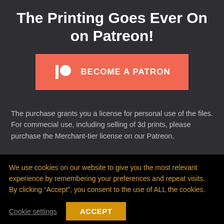The Printing Goes Ever On on Patreon!
[Figure (other): Patreon 'Become a Patron' button with Patreon logo icon on coral/red-orange background]
The purchase grants you a license for personal use of the files. For commecial use, including selling of 3d prints, please purchase the Merchant-tier license on our Patreon.
We use cookies on our website to give you the most relevant experience by remembering your preferences and repeat visits. By clicking “Accept”, you consent to the use of ALL the cookies.
Cookie settings   ACCEPT